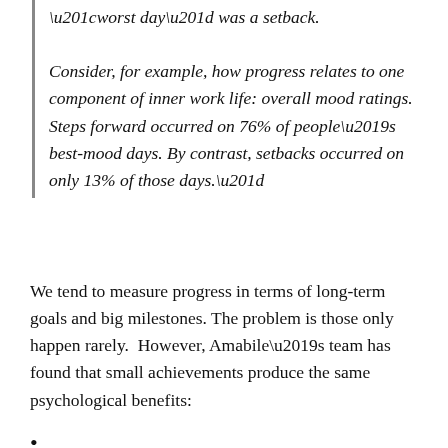“worst day” was a setback.

Consider, for example, how progress relates to one component of inner work life: overall mood ratings. Steps forward occurred on 76% of people’s best-mood days. By contrast, setbacks occurred on only 13% of those days.”
We tend to measure progress in terms of long-term goals and big milestones. The problem is those only happen rarely.  However, Amabile’s team has found that small achievements produce the same psychological benefits: